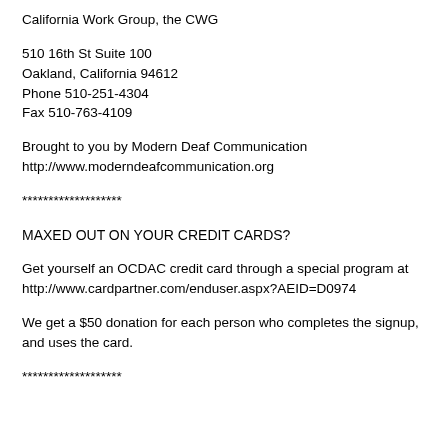California Work Group, the CWG
510 16th St Suite 100
Oakland, California 94612
Phone 510-251-4304
Fax 510-763-4109
Brought to you by Modern Deaf Communication
http://www.moderndeafcommunication.org
*******************
MAXED OUT ON YOUR CREDIT CARDS?
Get yourself an OCDAC credit card through a special program at http://www.cardpartner.com/enduser.aspx?AEID=D0974
We get a $50 donation for each person who completes the signup, and uses the card.
*******************